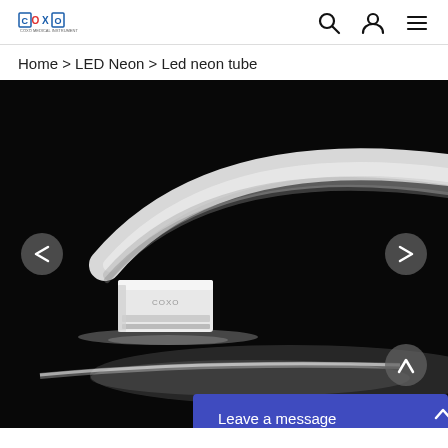COXO [logo] | Search | User | Menu
Home > LED Neon > Led neon tube
[Figure (photo): Close-up product photo of a white LED neon tube on a black background. The tube curves in a circle, with the end of the tube visible in the foreground showing a rectangular cross-section with the COXO logo imprinted on it. A glowing white light is emitted from beneath the tube.]
Leave a message